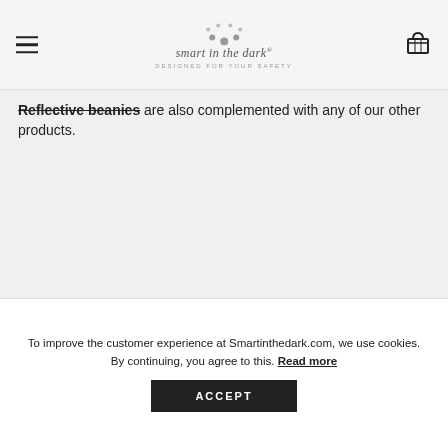smart in the dark® DESIGNED FOR YOUR SAFETY
Reflective beanies are also complemented with any of our other products.
[Figure (logo): Smart in the dark paw logo in gray on black background, with brand name text below]
To improve the customer experience at Smartinthedark.com, we use cookies. By continuing, you agree to this. Read more
ACCEPT